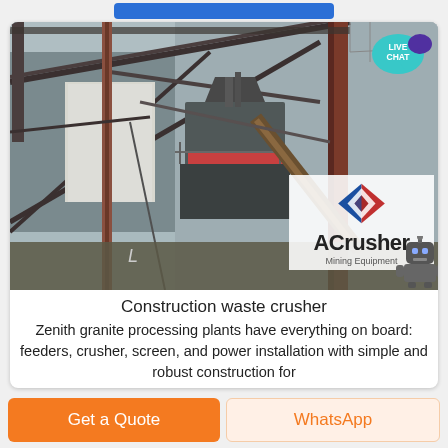[Figure (photo): Industrial mining/crushing facility with steel frame structure, conveyor belts, and a large crusher machine. ACrusher Mining Equipment logo watermark visible in bottom right corner.]
Construction waste crusher
Zenith granite processing plants have everything on board: feeders, crusher, screen, and power installation with simple and robust construction for
Get a Quote
WhatsApp